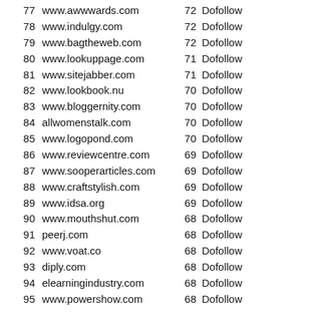77  www.awwwards.com  72  Dofollow
78  www.indulgy.com  72  Dofollow
79  www.bagtheweb.com  72  Dofollow
80  www.lookuppage.com  71  Dofollow
81  www.sitejabber.com  71  Dofollow
82  www.lookbook.nu  70  Dofollow
83  www.bloggernity.com  70  Dofollow
84  allwomenstalk.com  70  Dofollow
85  www.logopond.com  70  Dofollow
86  www.reviewcentre.com  69  Dofollow
87  www.sooperarticles.com  69  Dofollow
88  www.craftstylish.com  69  Dofollow
89  www.idsa.org  69  Dofollow
90  www.mouthshut.com  68  Dofollow
91  peerj.com  68  Dofollow
92  www.voat.co  68  Dofollow
93  diply.com  68  Dofollow
94  elearningindustry.com  68  Dofollow
95  www.powershow.com  68  Dofollow